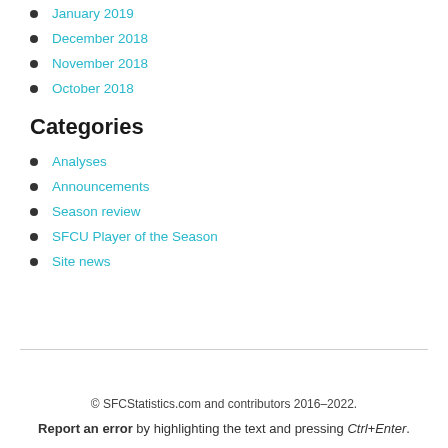January 2019
December 2018
November 2018
October 2018
Categories
Analyses
Announcements
Season review
SFCU Player of the Season
Site news
© SFCStatistics.com and contributors 2016–2022. Report an error by highlighting the text and pressing Ctrl+Enter.